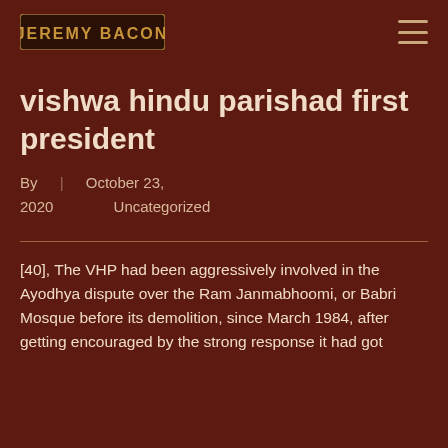[Figure (logo): Jeremy Bacon logo — gold/bronze text on dark background]
vishwa hindu parishad first president
By | October 23, 2020 | Uncategorized
[40], The VHP had been aggressively involved in the Ayodhya dispute over the Ram Janmabhoomi, or Babri Mosque before its demolition, since March 1984, after getting encouraged by the strong response it had got